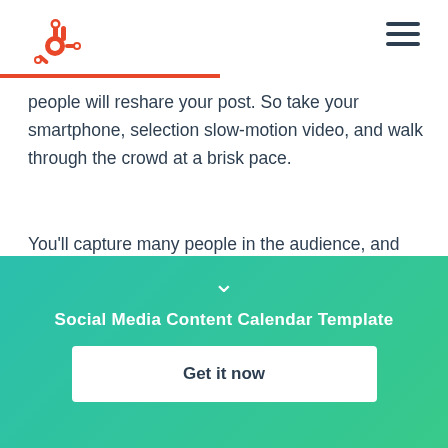HubSpot logo and navigation
people will reshare your post. So take your smartphone, selection slow-motion video, and walk through the crowd at a brisk pace.
You’ll capture many people in the audience, and many will act like fools for you which makes the video even more entertaining. Upload the video to YouTube, add some music to it, and share away.
[Figure (infographic): Teal to green gradient CTA section with chevron down arrow, title 'Social Media Content Calendar Template', and a white Get it now button]
Social Media Content Calendar Template
Get it now